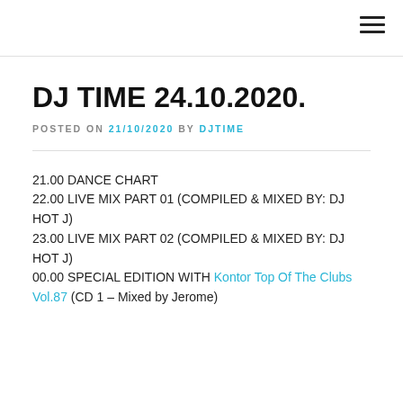☰
DJ TIME 24.10.2020.
POSTED ON 21/10/2020 BY DJTIME
21.00 DANCE CHART
22.00 LIVE MIX PART 01 (COMPILED & MIXED BY: DJ HOT J)
23.00 LIVE MIX PART 02 (COMPILED & MIXED BY: DJ HOT J)
00.00 SPECIAL EDITION WITH Kontor Top Of The Clubs Vol.87 (CD 1 – Mixed by Jerome)